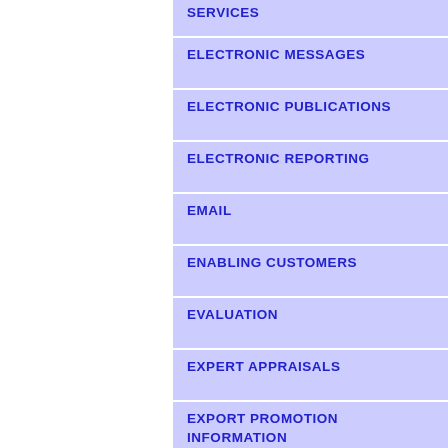SERVICES
ELECTRONIC MESSAGES
ELECTRONIC PUBLICATIONS
ELECTRONIC REPORTING
EMAIL
ENABLING CUSTOMERS
EVALUATION
EXPERT APPRAISALS
EXPORT PROMOTION INFORMATION
EXPORT SERVICES
FAMILIARIZATION
FOR COMMERCIAL